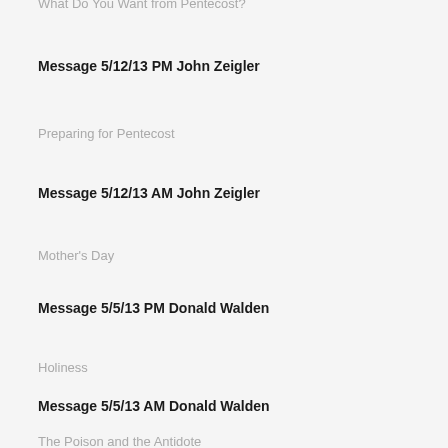What Do You Want from Pentecost?
Message 5/12/13 PM John Zeigler
Preparing for Pentecost
Message 5/12/13 AM John Zeigler
Mother's Day
Message 5/5/13 PM Donald Walden
Holiness
Message 5/5/13 AM Donald Walden
The Poison and the Antidote